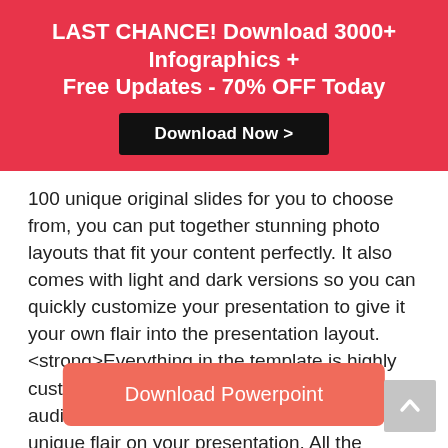LAST CHANCE! Download 3000+ Infographics + Free Updates - 70% OFF Today
Download Now >
100 unique original slides for you to choose from, you can put together stunning photo layouts that fit your content perfectly. It also comes with light and dark versions so you can quickly customize your presentation to give it your own flair into the presentation layout. <strong>Everything in the template is highly customizable</strong> so you can wow your audience in a matter minutes by putting your unique flair on your presentation. All the pictures can be changed easily with the drag and drop option and any of the graphics can be edited and resized.
Download Powerpoint